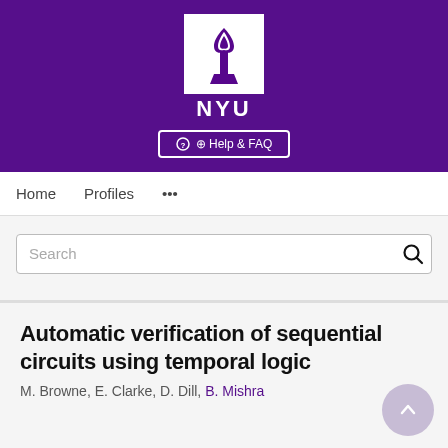[Figure (logo): NYU (New York University) logo with torch icon on purple background, with Help & FAQ button]
Home   Profiles   ...
Search
Automatic verification of sequential circuits using temporal logic
M. Browne, E. Clarke, D. Dill, B. Mishra